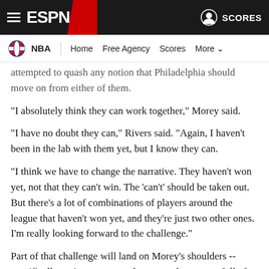ESPN — NBA | Home | Free Agency | Scores | More
attempted to quash any notion that Philadelphia should move on from either of them.
"I absolutely think they can work together," Morey said.
"I have no doubt they can," Rivers said. "Again, I haven't been in the lab with them yet, but I know they can.
"I think we have to change the narrative. They haven't won yet, not that they can't win. The 'can't' should be taken out. But there's a lot of combinations of players around the league that haven't won yet, and they're just two other ones. I'm really looking forward to the challenge."
Part of that challenge will land on Morey's shoulders -- specifically, trying to sort out how to make a roster full of